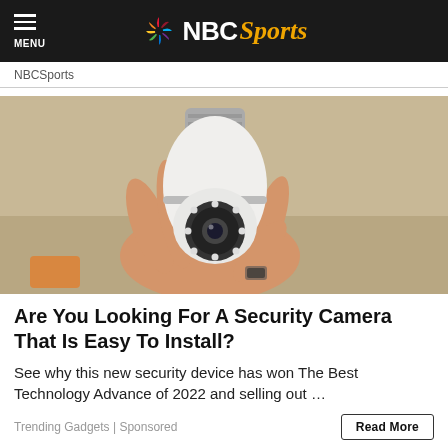MENU | NBC Sports
NBCSports
[Figure (photo): A hand holding a white security camera shaped like a light bulb, with a lens and LED ring visible, against a beige/wood background.]
Are You Looking For A Security Camera That Is Easy To Install?
See why this new security device has won The Best Technology Advance of 2022 and selling out ...
Trending Gadgets | Sponsored
Read More